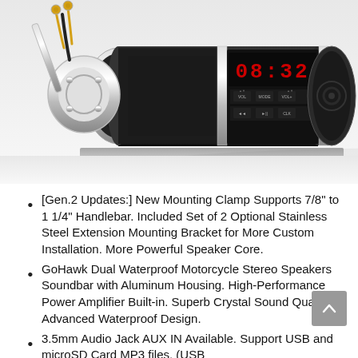[Figure (photo): Product photo of a GoHawk motorcycle stereo soundbar speaker system with chrome mounting clamp, black cylindrical body, LED display showing 08:32, and control buttons. Shown with mounting hardware and wiring.]
[Gen.2 Updates:] New Mounting Clamp Supports 7/8" to 1 1/4" Handlebar. Included Set of 2 Optional Stainless Steel Extension Mounting Bracket for More Custom Installation. More Powerful Speaker Core.
GoHawk Dual Waterproof Motorcycle Stereo Speakers Soundbar with Aluminum Housing. High-Performance Power Amplifier Built-in. Superb Crystal Sound Quality. Advanced Waterproof Design.
3.5mm Audio Jack AUX IN Available. Support USB and microSD Card MP3 files. (USB